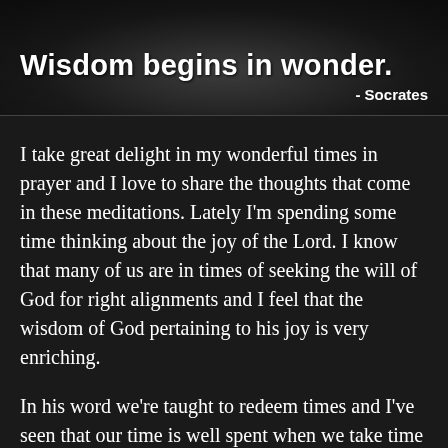[Figure (photo): Dark background banner image with text overlay showing a Socrates quote: 'Wisdom begins in wonder.' with attribution '- Socrates']
I take great delight in my wonderful times in prayer and I love to share the thoughts that come in these meditations. Lately I'm spending some time thinking about the joy of the Lord. I know that many of us are in times of seeking the will of God for right alignments and I feel that the wisdom of God pertaining to his joy is very enriching.
In his word we're taught to redeem times and I've seen that our time is well spent when we take time to turn our attention to knowing him. It's in the adventure of getting to know him that we